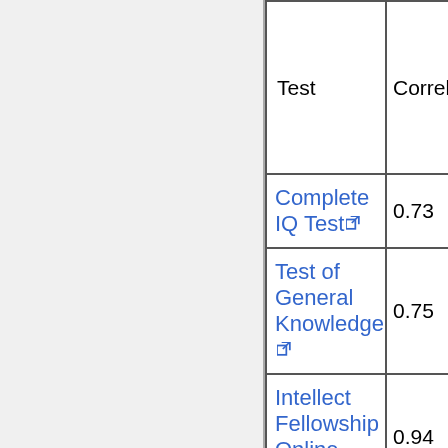| Test | Correlation |
| --- | --- |
| Complete IQ Test | 0.73 |
| Test of General Knowledge | 0.75 |
| Intellect Fellowship Online Test* | 0.94 |
| Practice |  |